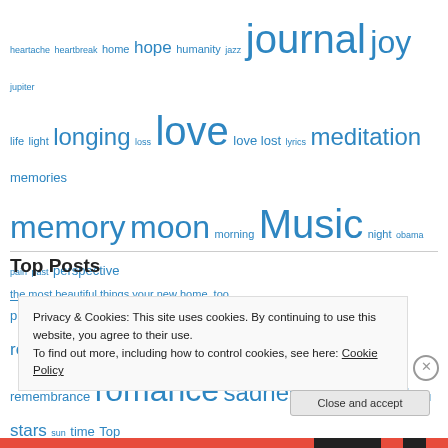heartache heartbreak home hope humanity jazz journal joy jupiter life light longing loss love love lost lyrics meditation memories memory moon morning Music night obama pain past perspective philosophy photo planets poetry prose rain reflection relationship remembrance romance sadness sky song soul stars sun time Top Ten Venus video voice water weather work
Top Posts
the most beautiful things your new home, too
Privacy & Cookies: This site uses cookies. By continuing to use this website, you agree to their use.
To find out more, including how to control cookies, see here: Cookie Policy
Close and accept